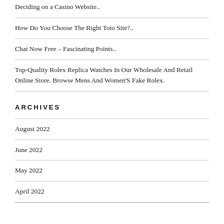Deciding on a Casino Website..
How Do You Choose The Right Toto Site?..
Chat Now Free – Fascinating Points..
Top-Quality Rolex Replica Watches In Our Wholesale And Retail Online Store. Browse Mens And Women'S Fake Rolex.
ARCHIVES
August 2022
June 2022
May 2022
April 2022